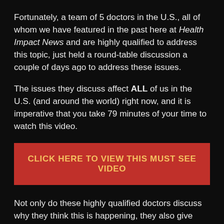Fortunately, a team of 5 doctors in the U.S., all of whom we have featured in the past here at Health Impact News and are highly qualified to address this topic, just held a round-table discussion a couple of days ago to address these issues.
The issues they discuss affect ALL of us in the U.S. (and around the world) right now, and it is imperative that you take 79 minutes of your time to watch this video.
CLICK HERE TO VIEW THIS MUST SEE VIDEO
Not only do these highly qualified doctors discuss why they think this is happening, they also give practical advice at the end about what we can be doing right now to